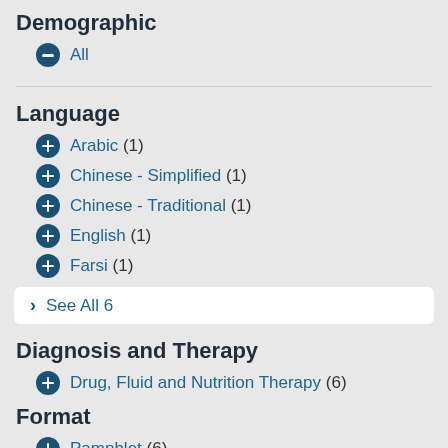Demographic
All
Language
Arabic (1)
Chinese - Simplified (1)
Chinese - Traditional (1)
English (1)
Farsi (1)
See All 6
Diagnosis and Therapy
Drug, Fluid and Nutrition Therapy (6)
Format
Pamphlet (6)